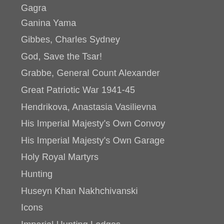Gagra
Ganina Yama
Gibbes, Charles Sydney
God, Save the Tsar!
Grabbe, General Count Alexander
Great Patriotic War 1941-45
Hendrikova, Anastasia Vasilievna
His Imperial Majesty's Own Convoy
His Imperial Majesty's Own Garage
Holy Royal Martyrs
Hunting
Huseyn Khan Nakhchivanski
Icons
Imperial Hunting Lodges
Imperial Railway Pavilion